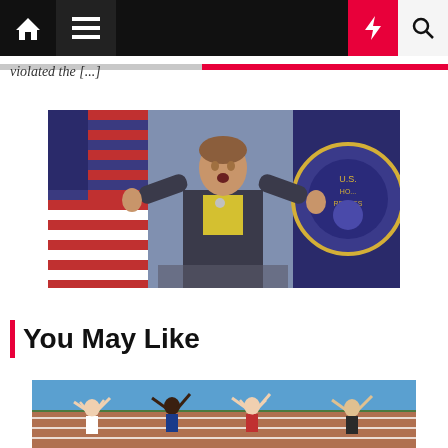Navigation bar with home, menu, moon, lightning, and search icons
violated the [...]
[Figure (photo): Woman in dark blazer with yellow shirt, arms raised, speaking at a podium with US House of Representatives flags in the background]
You May Like
[Figure (photo): People on a running track with arms raised]